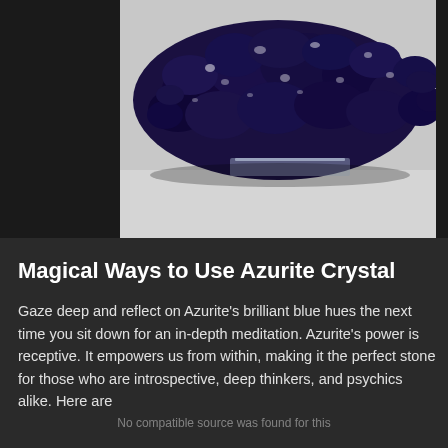[Figure (photo): Close-up photograph of azurite crystal mineral specimen showing deep navy/purple-blue clustered crystals on a light background with a clear acrylic stand visible]
Magical Ways to Use Azurite Crystal
Gaze deep and reflect on Azurite's brilliant blue hues the next time you sit down for an in-depth meditation. Azurite's power is receptive. It empowers us from within, making it the perfect stone for those who are introspective, deep thinkers, and psychics alike. Here are just some of the most unique and creative ways to use this